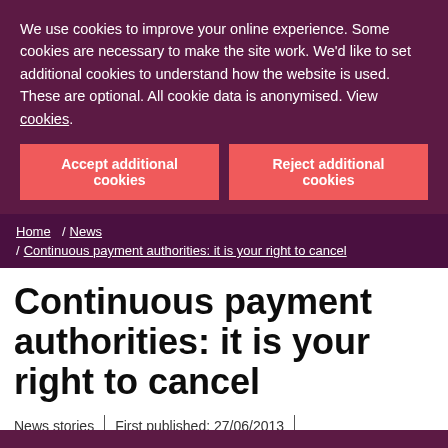We use cookies to improve your online experience. Some cookies are necessary to make the site work. We'd like to set additional cookies to understand how the website is used. These are optional. All cookie data is anonymised. View cookies.
Accept additional cookies
Reject additional cookies
Home / News / Continuous payment authorities: it is your right to cancel
Continuous payment authorities: it is your right to cancel
News stories | First published: 27/06/2013 | Last updated: 18/05/2021 | See all updates